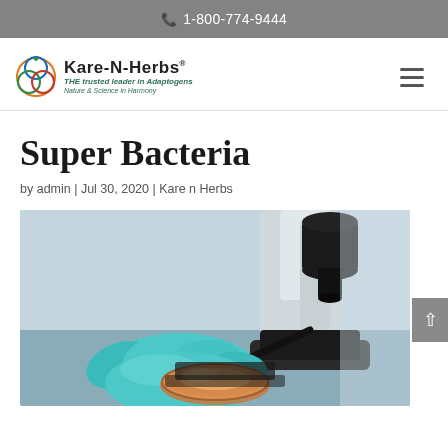1-800-774-9444
[Figure (logo): Kare-N-Herbs logo with circular overlapping rings icon and text 'Kare-N-Herbs THE trusted leader in Adaptogens Nature & Science in Harmony']
Super Bacteria
by admin | Jul 30, 2020 | Kare n Herbs
[Figure (photo): A person in blue latex gloves placing a petri dish under a microscope in a laboratory setting]